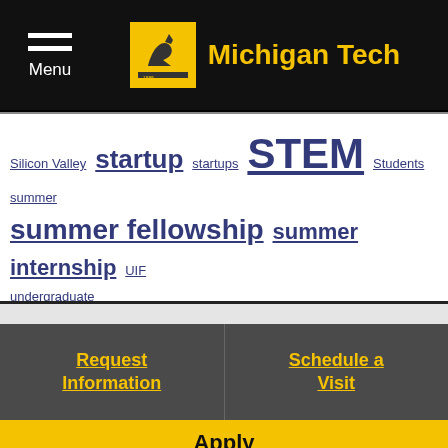Menu | Michigan Tech
Silicon Valley startup startups STEM Students summer summer fellowship summer internship UIF undergraduate undergraduate students
Request Information
Schedule a Visit
Apply
Admissions
Undergraduate Admissions
Study and Live
Degrees / Majors